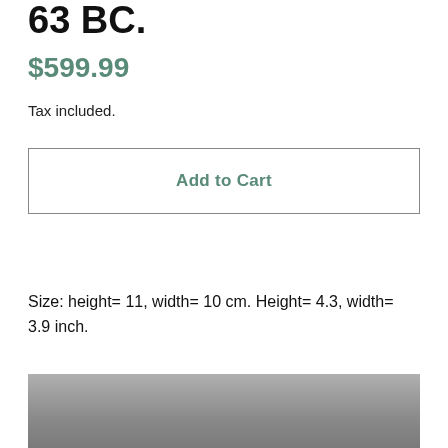63 BC.
$599.99
Tax included.
Add to Cart
Size: height= 11, width= 10 cm.  Height= 4.3, width= 3.9 inch.
[Figure (photo): Gray textured surface or product image, partially visible at the bottom of the page]